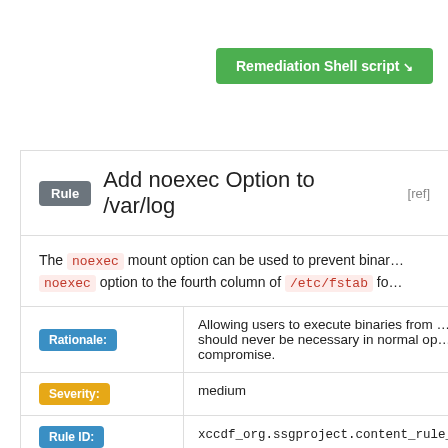[Figure (screenshot): Green button labeled 'Remediation Shell script' with download arrow]
Rule  Add noexec Option to /var/log  [ref]
The noexec mount option can be used to prevent binar... noexec option to the fourth column of /etc/fstab fo...
| Label | Value |
| --- | --- |
| Rationale: | Allowing users to execute binaries from ... should never be necessary in normal op... compromise. |
| Severity: | medium |
| Rule ID: | xccdf_org.ssgproject.content_rule_mou... |
| Identifiers and References | References: BP28(R12), CCI-001764, C... CIP-007-3 R2.1, CIP-007-3 R2.2, CIP-0... 007-3 R5.1.2, CM-7(a), CM-7(b), CM-6... |